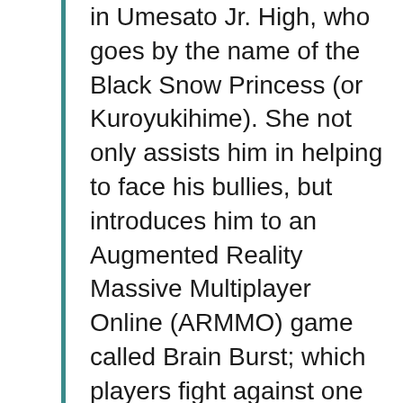in Umesato Jr. High, who goes by the name of the Black Snow Princess (or Kuroyukihime). She not only assists him in helping to face his bullies, but introduces him to an Augmented Reality Massive Multiplayer Online (ARMMO) game called Brain Burst; which players fight against one another in battles to earn Burst Points. There's more to this story so be sure to stream it on Youtube, FUNimation, or Crunchyroll if you wanna check it out!
And don't forget to check out Hunter x Hunter and its OVAs too, if